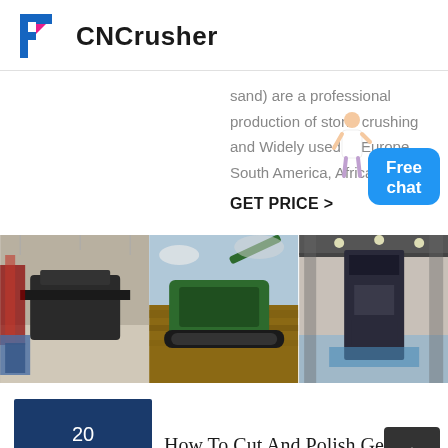CNCrusher
sand) are a professional production of stone crushing and Widely used in Europe, South America, Africa ...
GET PRICE >
[Figure (photo): Three side-by-side industrial photos: left shows a large crusher machine indoors, center shows a green mobile crusher outdoors with wood/rock piles, right shows large industrial press machinery in a factory.]
20 Nov
How To Cut And Polish Gemsto...